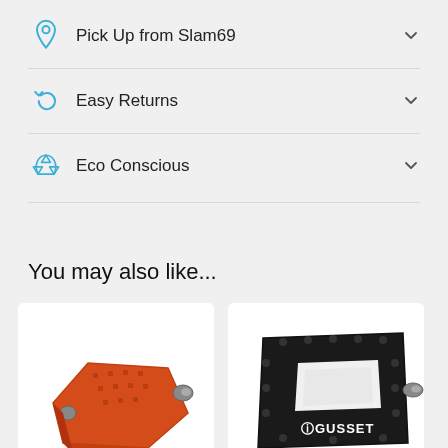Pick Up from Slam69
Easy Returns
Eco Conscious
You may also like...
[Figure (photo): Orange bicycle platform pedal shown at an angle against white background]
[Figure (photo): Black Gusset brand bicycle platform pedal shown at an angle with logo visible, against white background]